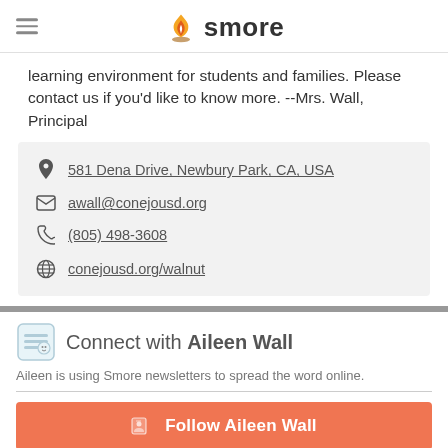smore
learning environment for students and families. Please contact us if you'd like to know more. --Mrs. Wall, Principal
581 Dena Drive, Newbury Park, CA, USA
awall@conejousd.org
(805) 498-3608
conejousd.org/walnut
Connect with Aileen Wall
Aileen is using Smore newsletters to spread the word online.
Follow Aileen Wall
Contact Aileen Wall